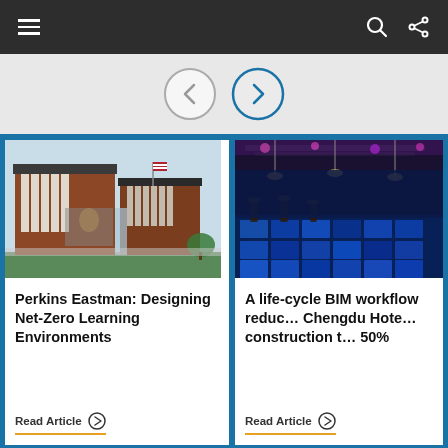Navigation bar with hamburger menu, search, and share icons
[Figure (screenshot): Navigation arrows: left (gray) and right (blue) circular arrow buttons]
[Figure (photo): Architectural rendering of a modern brick building with large windows and an American flag - Perkins Eastman project]
Perkins Eastman: Designing Net-Zero Learning Environments
Read Article
[Figure (photo): Interior photo of a hotel bar/venue with blue LED lighting and illuminated floor - Chengdu Hotel]
A life-cycle BIM workflow reduces Chengdu Hotel construction time 50%
Read Article